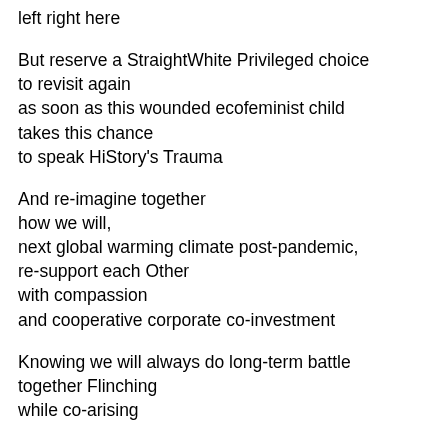left right here

But reserve a StraightWhite Privileged choice
to revisit again
as soon as this wounded ecofeminist child
takes this chance
to speak HiStory's Trauma

And re-imagine together
how we will,
next global warming climate post-pandemic,
re-support each Other
with compassion
and cooperative corporate co-investment

Knowing we will always do long-term battle
together Flinching
while co-arising